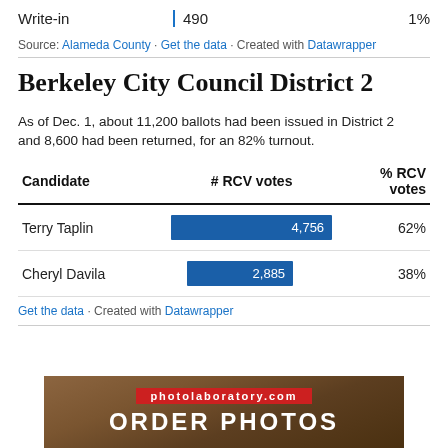|  | # RCV votes | % RCV votes |
| --- | --- | --- |
| Write-in | 490 | 1% |
Source: Alameda County · Get the data · Created with Datawrapper
Berkeley City Council District 2
As of Dec. 1, about 11,200 ballots had been issued in District 2 and 8,600 had been returned, for an 82% turnout.
| Candidate | # RCV votes | % RCV votes |
| --- | --- | --- |
| Terry Taplin | 4,756 | 62% |
| Cheryl Davila | 2,885 | 38% |
Get the data · Created with Datawrapper
[Figure (photo): Advertisement banner for photolaboratory.com showing ORDER PHOTOS text on wooden background]